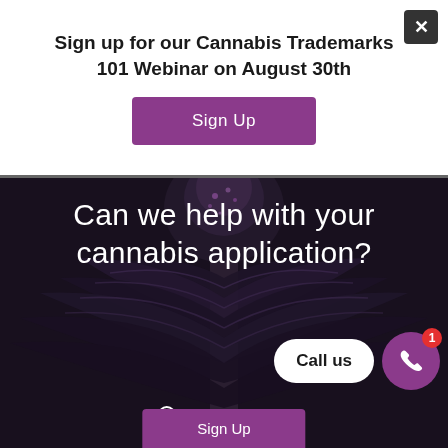Sign up for our Cannabis Trademarks 101 Webinar on August 30th
[Figure (screenshot): Purple 'Sign Up' button]
[Figure (photo): Dark cannabis plant close-up photo with text overlay 'Can we help with your cannabis application?' and a 'Call us' pill button with phone icon, and 'Takes 3 minutes' text]
Can we help with your cannabis application?
Call us
Takes 3 minutes